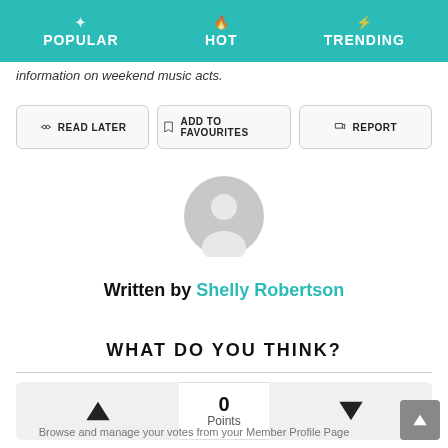POPULAR  HOT  TRENDING
information on weekend music acts.
READ LATER
ADD TO FAVOURITES
REPORT
[Figure (illustration): Default user avatar circle, grey silhouette]
Written by Shelly Robertson
WHAT DO YOU THINK?
0 Points
Browse and manage your votes from your Member Profile Page